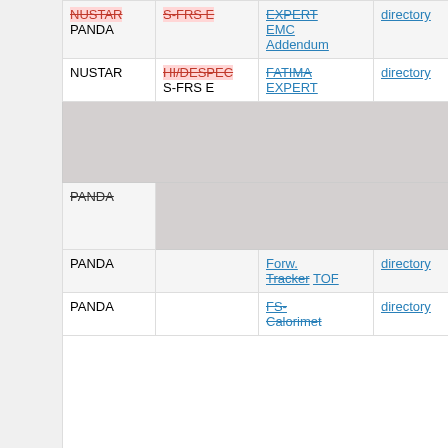| Experiment | Detector/System | TDR | Type | Version | Date |
| --- | --- | --- | --- | --- | --- |
| NUSTAR PANDA | S-FRS E | EXPERT EMC Addendum | directory | 2_38 4_01A | 2016/1 2020/1 |
| NUSTAR | HI/DESPEC S-FRS E | FATIMA EXPERT | directory | 2_13 2_38 | 2015/0 2016/1 |
| (grey header row) |  |  |  |  |  |
| PANDA | (grey cell) |  |  |  |  |
| PANDA |  | Forw. Tracker TOF | directory | 4_10 4_09 | 2018/0 2018/0 |
| PANDA |  | FS- Calorimeter | directory | 4_08 4_10 | 2015/0 2018/0 |